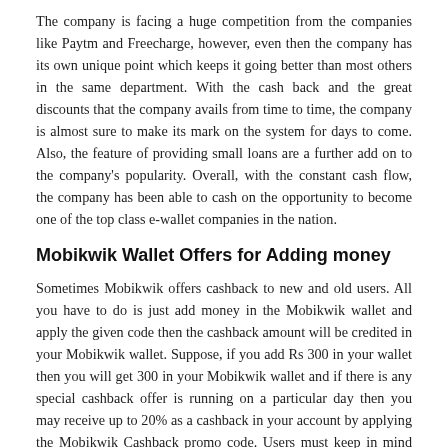The company is facing a huge competition from the companies like Paytm and Freecharge, however, even then the company has its own unique point which keeps it going better than most others in the same department. With the cash back and the great discounts that the company avails from time to time, the company is almost sure to make its mark on the system for days to come. Also, the feature of providing small loans are a further add on to the company's popularity. Overall, with the constant cash flow, the company has been able to cash on the opportunity to become one of the top class e-wallet companies in the nation.
Mobikwik Wallet Offers for Adding money
Sometimes Mobikwik offers cashback to new and old users. All you have to do is just add money in the Mobikwik wallet and apply the given code then the cashback amount will be credited in your Mobikwik wallet. Suppose, if you add Rs 300 in your wallet then you will get 300 in your Mobikwik wallet and if there is any special cashback offer is running on a particular day then you may receive up to 20% as a cashback in your account by applying the Mobikwik Cashback promo code. Users must keep in mind that the payment will be done via specific Debit or Credit Card then only you are able to encash the money.